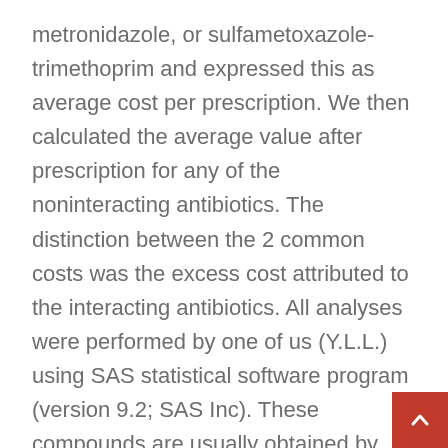metronidazole, or sulfametoxazole-trimethoprim and expressed this as average cost per prescription. We then calculated the average value after prescription for any of the noninteracting antibiotics. The distinction between the 2 common costs was the excess cost attributed to the interacting antibiotics. All analyses were performed by one of us (Y.L.L.) using SAS statistical software program (version 9.2; SAS Inc). These compounds are usually obtained by way of a healthy diet, and are completely crucial to consumption (through either supplementation or weight-reduction plan) for optimal human functioning. In accordance with the same tally, the highest fi states in coronavirus instances as of Friday have